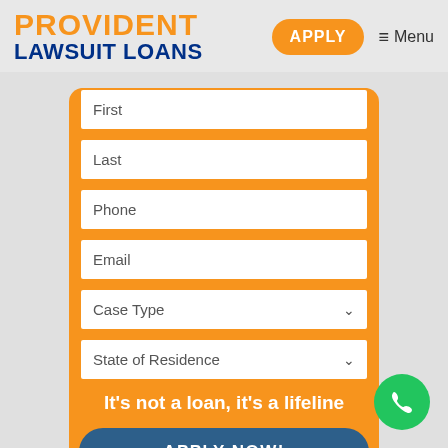PROVIDENT LAWSUIT LOANS
APPLY
≡ Menu
First
Last
Phone
Email
Case Type
State of Residence
It's not a loan, it's a lifeline
APPLY NOW!